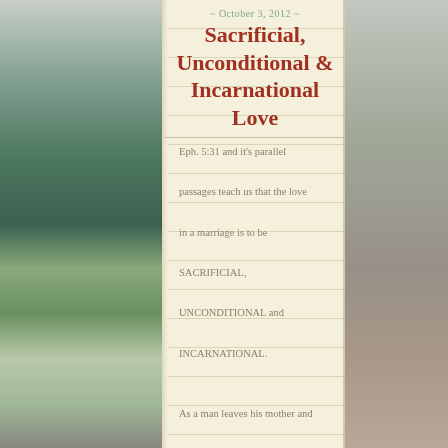~ October 3, 2012 ~
Sacrificial, Unconditional & Incarnational Love
Eph. 5:31 and it's parallel passages teach us that the love in a marriage is to be SACRIFICIAL, UNCONDITIONAL and INCARNATIONAL.

As a man leaves his mother and father to become married to his wife, he's SACRIFICING the comforts of home with his parents.  He's sacrificing his old way of life.  He's sacrificing his